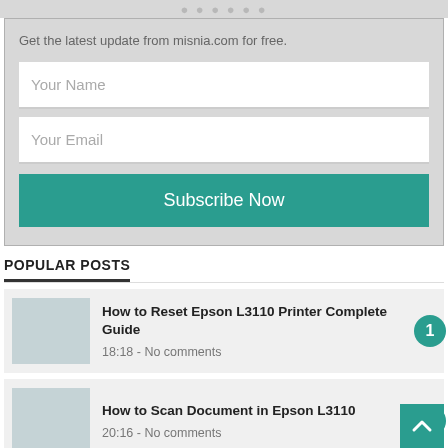Get the latest update from misnia.com for free.
Your Name
Your Email
Subscribe Now
POPULAR POSTS
How to Reset Epson L3110 Printer Complete Guide
18:18 - No comments
How to Scan Document in Epson L3110
20:16 - No comments